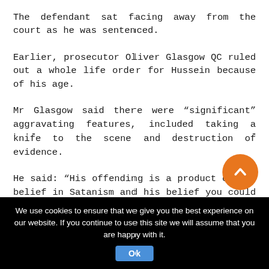The defendant sat facing away from the court as he was sentenced.
Earlier, prosecutor Oliver Glasgow QC ruled out a whole life order for Hussein because of his age.
Mr Glasgow said there were “significant” aggravating features, included taking a knife to the scene and destruction of evidence.
He said: “His offending is a product of his belief in Satanism and his belief you could enter into a bargain with a devil.
“That belief cost someone their...
We use cookies to ensure that we give you the best experience on our website. If you continue to use this site we will assume that you are happy with it.